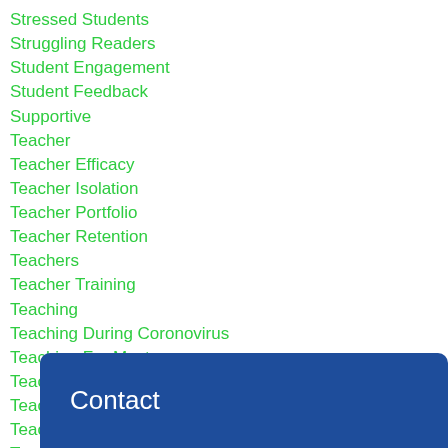Stressed Students
Struggling Readers
Student Engagement
Student Feedback
Supportive
Teacher
Teacher Efficacy
Teacher Isolation
Teacher Portfolio
Teacher Retention
Teachers
Teacher Training
Teaching
Teaching During Coronovirus
Teaching For Mastery
Teaching Framework
Teaching Practice
Teaching Teams
T...
T...
TED
Contact